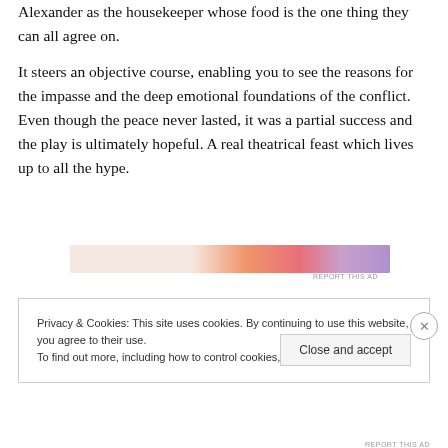Alexander as the housekeeper whose food is the one thing they can all agree on.
It steers an objective course, enabling you to see the reasons for the impasse and the deep emotional foundations of the conflict. Even though the peace never lasted, it was a partial success and the play is ultimately hopeful. A real theatrical feast which lives up to all the hype.
[Figure (other): Advertisement banner with orange-pink gradient and purple overlay]
REPORT THIS AD
Privacy & Cookies: This site uses cookies. By continuing to use this website, you agree to their use.
To find out more, including how to control cookies, see here: Cookie Policy
Close and accept
REPORT THIS AD